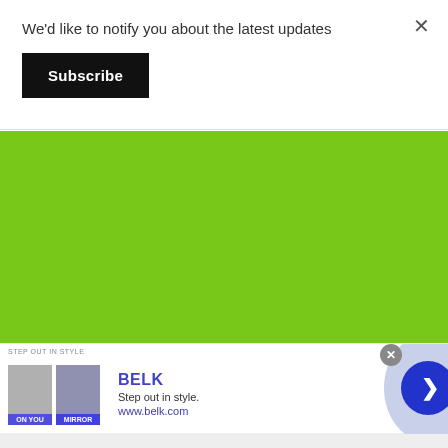We'd like to notify you about the latest updates
Subscribe
[Figure (other): Green advertisement or content placeholder block]
[Figure (other): Advertisement banner for BELK - Step out in style. www.belk.com, with two product thumbnail images and a navigation arrow button]